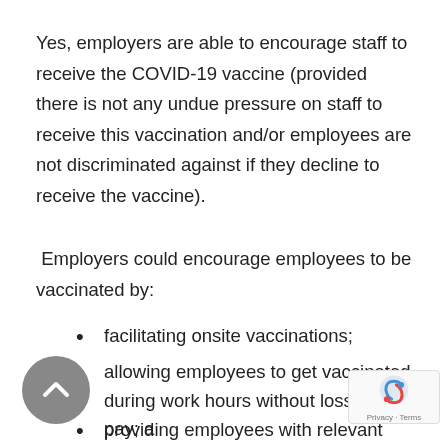Yes, employers are able to encourage staff to receive the COVID-19 vaccine (provided there is not any undue pressure on staff to receive this vaccination and/or employees are not discriminated against if they decline to receive the vaccine).
Employers could encourage employees to be vaccinated by:
facilitating onsite vaccinations;
allowing employees to get vaccinated during work hours without loss of pay; a
providing employees with relevant and timely information from the Ministry of